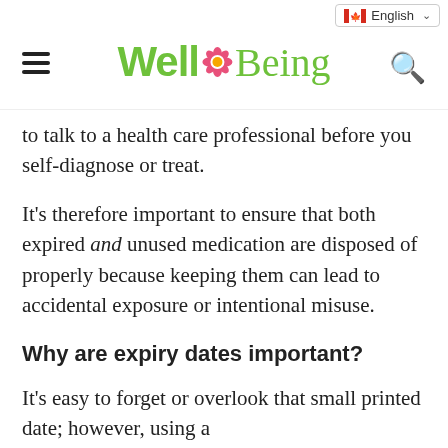WellBeing — English
to talk to a health care professional before you self-diagnose or treat.
It's therefore important to ensure that both expired and unused medication are disposed of properly because keeping them can lead to accidental exposure or intentional misuse.
Why are expiry dates important?
It's easy to forget or overlook that small printed date; however, using a